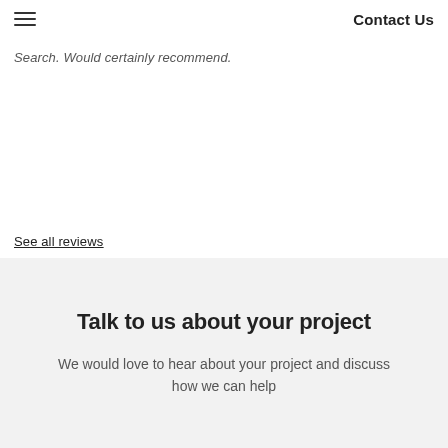Contact Us
Search. Would certainly recommend.
See all reviews
Talk to us about your project
We would love to hear about your project and discuss how we can help